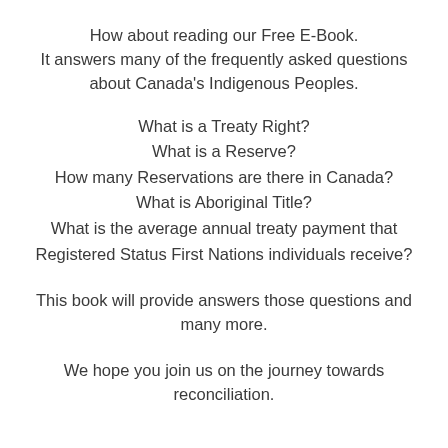How about reading our Free E-Book.
It answers many of the frequently asked questions about Canada’s Indigenous Peoples.
What is a Treaty Right?
What is a Reserve?
How many Reservations are there in Canada?
What is Aboriginal Title?
What is the average annual treaty payment that Registered Status First Nations individuals receive?
This book will provide answers those questions and many more.
We hope you join us on the journey towards reconciliation.